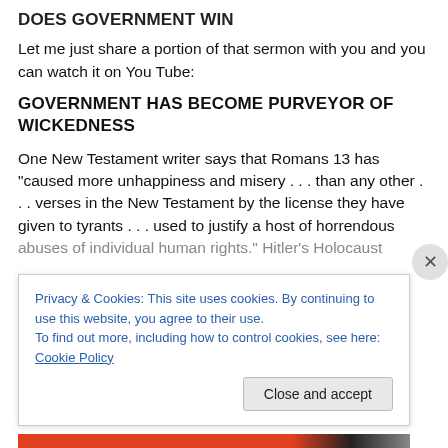DOES GOVERNMENT WIN
Let me just share a portion of that sermon with you and you can watch it on You Tube:
GOVERNMENT HAS BECOME PURVEYOR OF WICKEDNESS
One New Testament writer says that Romans 13 has “caused more unhappiness and misery . . . than any other . . . verses in the New Testament by the license they have given to tyrants . . . used to justify a host of horrendous abuses of individual human rights.” Hitler’s Holocaust
Privacy & Cookies: This site uses cookies. By continuing to use this website, you agree to their use.
To find out more, including how to control cookies, see here: Cookie Policy
Close and accept